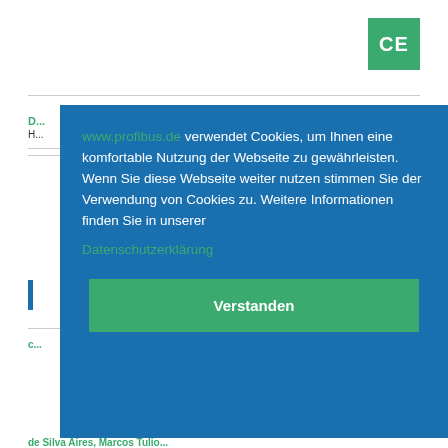[Figure (logo): CE mark badge — green square with white 'CE' text]
www.profibus.de verwendet Cookies, um Ihnen eine komfortable Nutzung der Webseite zu gewährleisten. Wenn Sie diese Webseite weiter nutzen stimmen Sie der Verwendung von Cookies zu. Weitere Informationen finden Sie in unserer Datenschutzerklärung
Verstanden